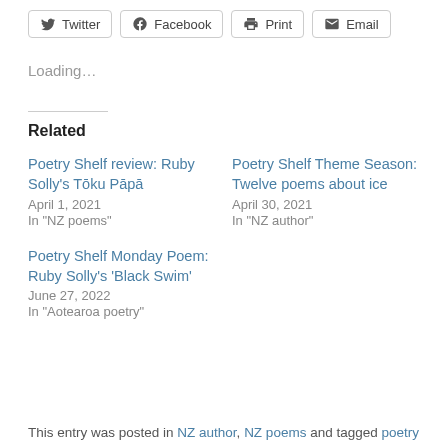Twitter  Facebook  Print  Email
Loading...
Related
Poetry Shelf review: Ruby Solly's Tōku Pāpā
April 1, 2021
In "NZ poems"
Poetry Shelf Theme Season: Twelve poems about ice
April 30, 2021
In "NZ author"
Poetry Shelf Monday Poem: Ruby Solly's 'Black Swim'
June 27, 2022
In "Aotearoa poetry"
This entry was posted in NZ author, NZ poems and tagged poetry